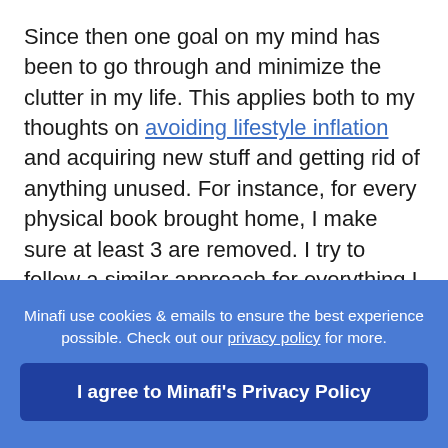Since then one goal on my mind has been to go through and minimize the clutter in my life. This applies both to my thoughts on avoiding lifestyle inflation and acquiring new stuff and getting rid of anything unused. For instance, for every physical book brought home, I make sure at least 3 are removed. I try to follow a similar approach for everything I bring home — with the goal that whenever I bring something home for good, I donate or sell something to offset the addition.
Minafi use cookies & emails to ensure the best experience possible. Check out our privacy policy for more.
I agree to Minafi's Privacy Policy